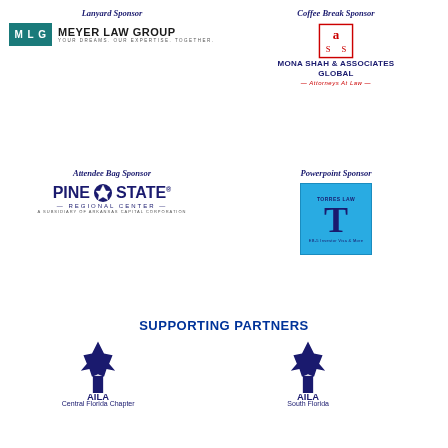Lanyard Sponsor
[Figure (logo): Meyer Law Group logo - teal box with MLG letters and company name]
Coffee Break Sponsor
[Figure (logo): Mona Shah & Associates Global - Attorneys At Law logo]
Attendee Bag Sponsor
[Figure (logo): Pine State Regional Center logo - A Subsidiary of Arkansas Capital Corporation]
Powerpoint Sponsor
[Figure (logo): Torres Law logo - blue box with large T letter]
SUPPORTING PARTNERS
[Figure (logo): AILA Central Florida Chapter logo with Statue of Liberty torch]
[Figure (logo): AILA South Florida logo with Statue of Liberty torch]